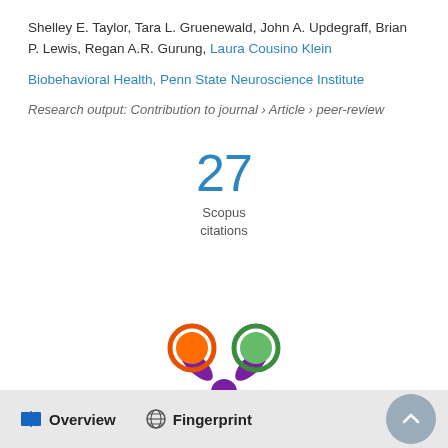Shelley E. Taylor, Tara L. Gruenewald, John A. Updegraff, Brian P. Lewis, Regan A.R. Gurung, Laura Cousino Klein
Biobehavioral Health, Penn State Neuroscience Institute
Research output: Contribution to journal › Article › peer-review
[Figure (infographic): 27 Scopus citations badge]
[Figure (logo): Altmetric/PlumX style logo with orange, green, and purple circles on a purple splash]
Overview   Fingerprint